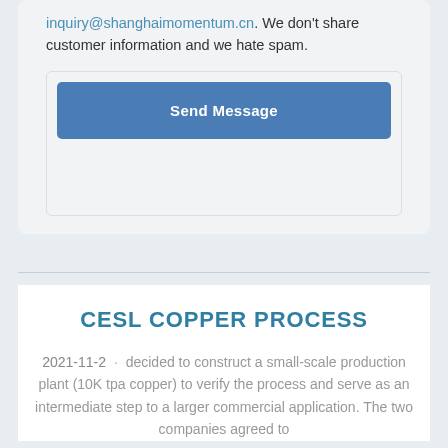inquiry@shanghaimomentum.cn. We don't share customer information and we hate spam.
Send Message
CESL COPPER PROCESS
2021-11-2 · decided to construct a small-scale production plant (10K tpa copper) to verify the process and serve as an intermediate step to a larger commercial application. The two companies agreed to